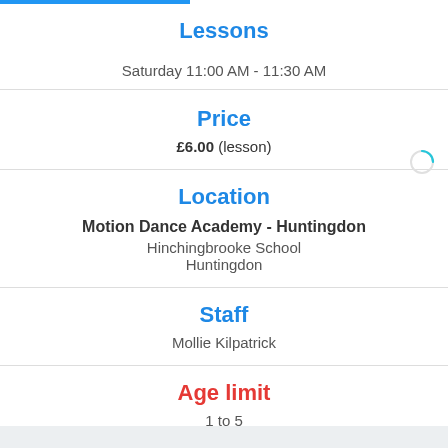Lessons
Saturday 11:00 AM - 11:30 AM
Price
£6.00 (lesson)
Location
Motion Dance Academy - Huntingdon
Hinchingbrooke School
Huntingdon
Staff
Mollie Kilpatrick
Age limit
1 to 5